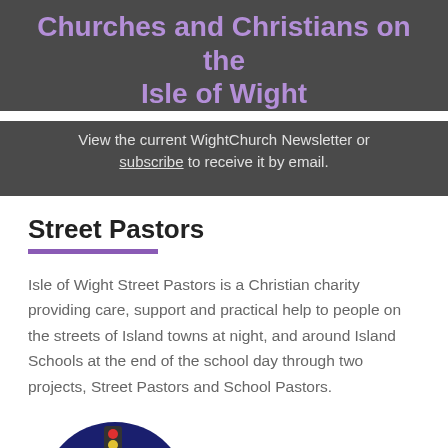Churches and Christians on the Isle of Wight
View the current WightChurch Newsletter or subscribe to receive it by email.
Street Pastors
Isle of Wight Street Pastors is a Christian charity providing care, support and practical help to people on the streets of Island towns at night, and around Island Schools at the end of the school day through two projects, Street Pastors and School Pastors.
[Figure (illustration): Circular logo/illustration for Isle of Wight Street Pastors showing people figures and a traffic light on a dark blue circular background, partially visible at the bottom of the page]